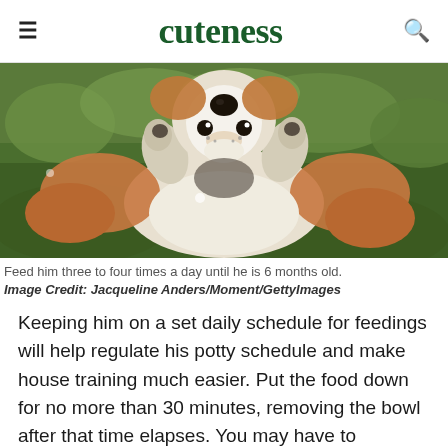cuteness
[Figure (photo): A corgi puppy lying on its back in grass, looking up at the camera with paws raised]
Feed him three to four times a day until he is 6 months old.
Image Credit: Jacqueline Anders/Moment/GettyImages
Keeping him on a set daily schedule for feedings will help regulate his potty schedule and make house training much easier. Put the food down for no more than 30 minutes, removing the bowl after that time elapses. You may have to supervise him so he eats his food. If you are working, you will need someone to